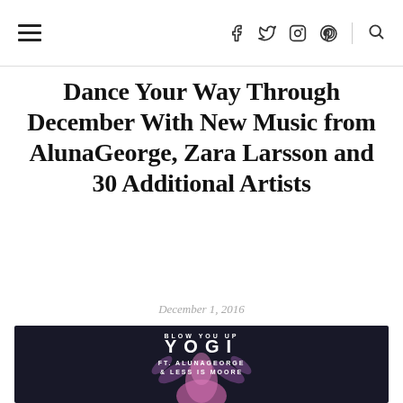Navigation bar with hamburger menu and social icons (f, twitter, instagram, pinterest) and search
Dance Your Way Through December With New Music from AlunaGeorge, Zara Larsson and 30 Additional Artists
December 1, 2016
[Figure (photo): Album art for 'Blow You Up' by YOGI ft. AlunaGeorge & Less Is Moore — dark navy background with pink/purple smoke figure, white bold text]